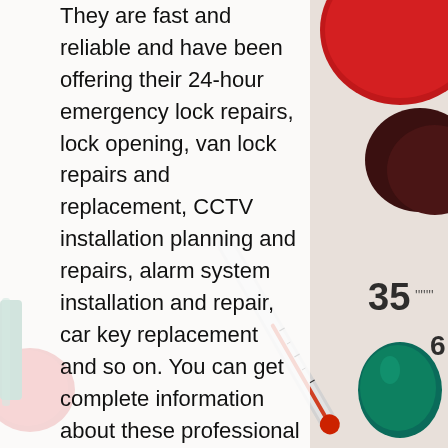[Figure (photo): Background photo showing medical/health items: red and teal capsule pills, a glass thermometer showing around 35-36 degrees, and a red capsule pill piece, all on a light surface.]
They are fast and reliable and have been offering their 24-hour emergency lock repairs, lock opening, van lock repairs and replacement, CCTV installation planning and repairs, alarm system installation and repair, car key replacement and so on. You can get complete information about these professional experts on their official website. Feel free to hire them and get the professional services at your doorstep. Now, you can remain tension-free for all your lockout situations with the help of this